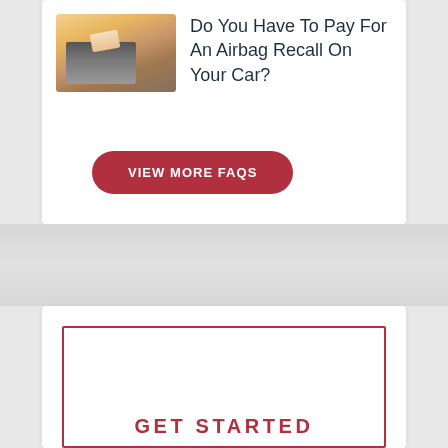[Figure (photo): Hands on laptop keyboard, likely holding a credit card, with warm golden light overlay]
Do You Have To Pay For An Airbag Recall On Your Car?
VIEW MORE FAQS
GET STARTED